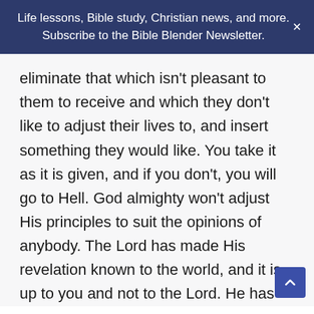Life lessons, Bible study, Christian news, and more. Subscribe to the Bible Blender Newsletter.
eliminate that which isn't pleasant to them to receive and which they don't like to adjust their lives to, and insert something they would like. You take it as it is given, and if you don't, you will go to Hell. God almighty won't adjust His principles to suit the opinions of anybody. The Lord has made His revelation known to the world, and it is up to you and not to the Lord. He has done all He ever will or can do to save this world. He has given sunshine and rain and ground; it is up to you to plant the